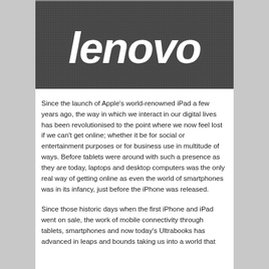[Figure (photo): Lenovo logo in white italic text on a dark grey textured background]
Since the launch of Apple's world-renowned iPad a few years ago, the way in which we interact in our digital lives has been revolutionised to the point where we now feel lost if we can't get online; whether it be for social or entertainment purposes or for business use in multitude of ways. Before tablets were around with such a presence as they are today, laptops and desktop computers was the only real way of getting online as even the world of smartphones was in its infancy, just before the iPhone was released.
Since those historic days when the first iPhone and iPad went on sale, the work of mobile connectivity through tablets, smartphones and now today's Ultrabooks has advanced in leaps and bounds taking us into a world that